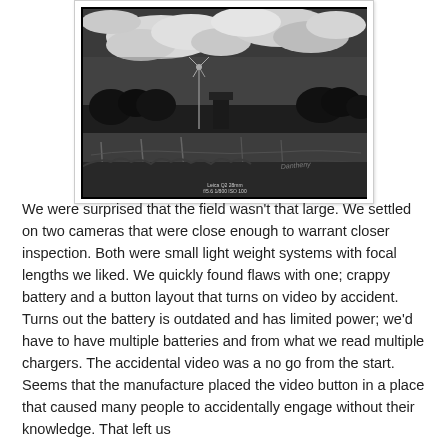[Figure (photo): Black and white photograph of a rural landscape featuring a windmill, a barn/silo, trees, fencing, and a dramatic cloudy sky. Small text at bottom center reads 'Leica Q2 28mm f/5.6 1/800 ISO 100'. A watermark/signature appears in the lower right.]
We were surprised that the field wasn't that large. We settled on two cameras that were close enough to warrant closer inspection. Both were small light weight systems with focal lengths we liked. We quickly found flaws with one; crappy battery and a button layout that turns on video by accident.  Turns out the battery is outdated and has limited power; we'd have to have multiple batteries and from what we read multiple chargers. The accidental video was a no go from the start. Seems that the manufacture placed the video button in a place that caused many people to accidentally engage without their knowledge. That left us